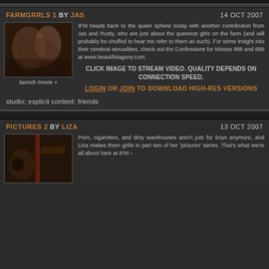FARMGRRLS 1 BY JAS   14 OCT 2007
[Figure (photo): Photo thumbnail of two people in an intimate pose, indoor setting. Caption: launch movie >>]
IFM heads back to the queer sphere today with another contribution from Jas and Rusty, who are just about the queerest girls on the farm (and will probably be chuffed to hear me refer to them as such). For some insight into their cerebral sexualities, check out the Confessions for Misses 888 and 889 at www.beautifulagony.com.
CLICK IMAGE TO STREAM VIDEO. QUALITY DEPENDS ON CONNECTION SPEED.
LOGIN OR JOIN TO DOWNLOAD HIGH-RES VERSIONS
studio; explicit content; friends
PICTURES 2 BY LIZA   13 OCT 2007
[Figure (photo): Photo thumbnail showing a person in a warehouse/studio setting with red lighting elements.]
Porn, cigarettes, and dirty warehouses aren't just for boys anymore, and Liza makes them girlie in part two of her 'pictures' series. That's what we're all about here at IFM –